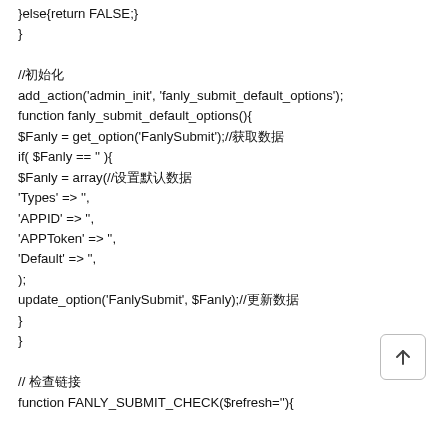}else{return FALSE;}
}

//初始化
add_action('admin_init', 'fanly_submit_default_options');
function fanly_submit_default_options(){
$Fanly = get_option('FanlySubmit');//获取数据
if( $Fanly == '' ){
$Fanly = array(//设置默认数据
'Types' => '',
'APPID' => '',
'APPToken' => '',
'Default' => '',
);
update_option('FanlySubmit', $Fanly);//更新数据
}
}

// 检查链接
function FANLY_SUBMIT_CHECK($refresh=''){
[Figure (other): Back to top button with upward arrow icon in a rounded rectangle border]